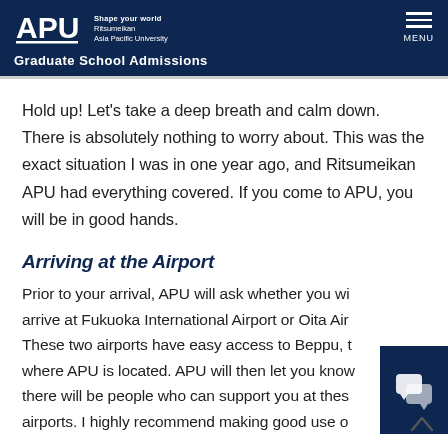APU — Shape your world Ritsumeikan Asia Pacific University — Graduate School Admissions
Hold up! Let's take a deep breath and calm down. There is absolutely nothing to worry about. This was the exact situation I was in one year ago, and Ritsumeikan APU had everything covered. If you come to APU, you will be in good hands.
Arriving at the Airport
Prior to your arrival, APU will ask whether you will arrive at Fukuoka International Airport or Oita Airport. These two airports have easy access to Beppu, the city where APU is located. APU will then let you know there will be people who can support you at these airports. I highly recommend making good use o